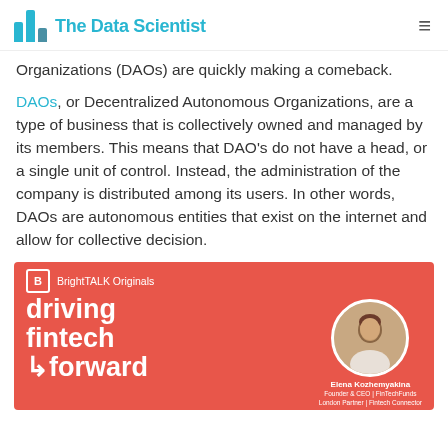The Data Scientist
Organizations (DAOs) are quickly making a comeback.
DAOs, or Decentralized Autonomous Organizations, are a type of business that is collectively owned and managed by its members. This means that DAO's do not have a head, or a single unit of control. Instead, the administration of the company is distributed among its users. In other words, DAOs are autonomous entities that exist on the internet and allow for collective decision.
[Figure (other): BrightTALK Originals podcast card for 'driving fintech forward', Episode 21: DAOs: The Next Chapter of the Crypto Saga, featuring Elena Kozhemyakina, Founder & CEO | FinTechFunds, London Partner | Fintech Connector]